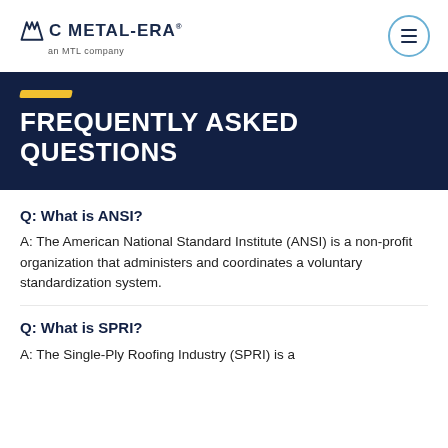METAL-ERA an MTL company
FREQUENTLY ASKED QUESTIONS
Q: What is ANSI?
A: The American National Standard Institute (ANSI) is a non-profit organization that administers and coordinates a voluntary standardization system.
Q: What is SPRI?
A: The Single-Ply Roofing Industry (SPRI) is a ...